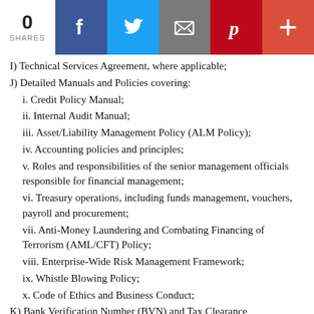[Figure (other): Social sharing bar with 0 shares count and icons for Facebook, Twitter, Email, Pinterest, and a plus button]
I) Technical Services Agreement, where applicable;
J) Detailed Manuals and Policies covering:
i. Credit Policy Manual;
ii. Internal Audit Manual;
iii. Asset/Liability Management Policy (ALM Policy);
iv. Accounting policies and principles;
v. Roles and responsibilities of the senior management officials responsible for financial management;
vi. Treasury operations, including funds management, vouchers, payroll and procurement;
vii. Anti-Money Laundering and Combating Financing of Terrorism (AML/CFT) Policy;
viii. Enterprise-Wide Risk Management Framework;
ix. Whistle Blowing Policy;
x. Code of Ethics and Business Conduct;
K) Bank Verification Number (BVN) and Tax Clearance